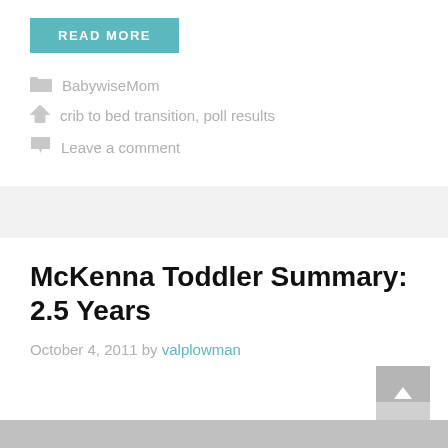READ MORE
BabywiseMom
crib to bed transition, poll results
Leave a comment
McKenna Toddler Summary: 2.5 Years
October 4, 2011 by valplowman